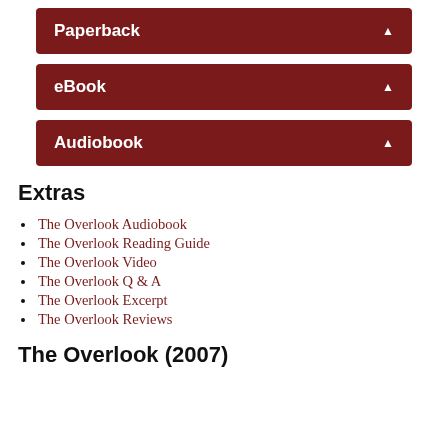Paperback
eBook
Audiobook
Extras
The Overlook Audiobook
The Overlook Reading Guide
The Overlook Video
The Overlook Q & A
The Overlook Excerpt
The Overlook Reviews
The Overlook (2007)